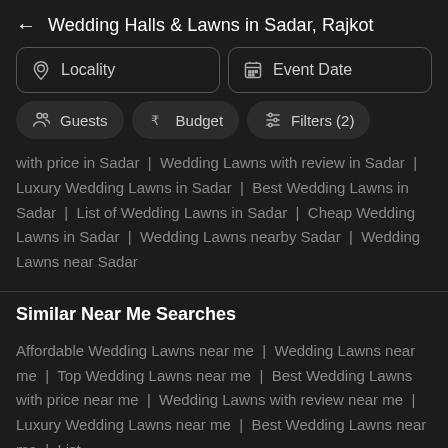Wedding Halls & Lawns in Sadar, Rajkot
Locality
Event Date
Guests
Budget
Filters (2)
with price in Sadar | Wedding Lawns with review in Sadar | Luxury Wedding Lawns in Sadar | Best Wedding Lawns in Sadar | List of Wedding Lawns in Sadar | Cheap Wedding Lawns in Sadar | Wedding Lawns nearby Sadar | Wedding Lawns near Sadar
Similar Near Me Searches
Affordable Wedding Lawns near me | Wedding Lawns near me | Top Wedding Lawns near me | Best Wedding Lawns with price near me | Wedding Lawns with review near me | Luxury Wedding Lawns near me | Best Wedding Lawns near me | List